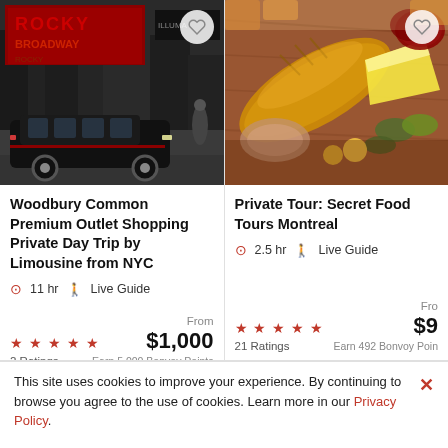[Figure (photo): NYC Times Square street photo with Rocky on Broadway billboard and black limousine in foreground]
Woodbury Common Premium Outlet Shopping Private Day Trip by Limousine from NYC
11 hr  Live Guide
From
$1,000
★★★★★  2 Ratings  Earn 5,000 Bonvoy Points
[Figure (photo): Charcuterie and cheese board with bread, meats, pickles and grapes on wooden board]
Private Tour: Secret Food Tours Montreal
2.5 hr  Live Guide
From
$9…
★★★★★  21 Ratings  Earn 492 Bonvoy Points
This site uses cookies to improve your experience. By continuing to browse you agree to the use of cookies. Learn more in our Privacy Policy.